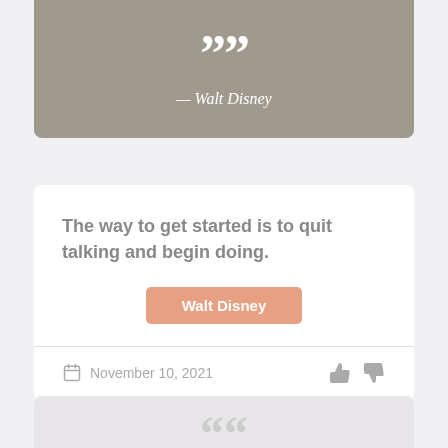[Figure (illustration): Decorative quotation mark on grey-brown background card]
— Walt Disney
The way to get started is to quit talking and begin doing.
Walt Disney
November 10, 2021